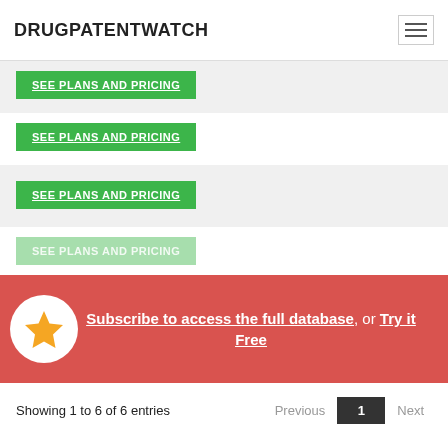DRUGPATENTWATCH
SEE PLANS AND PRICING
SEE PLANS AND PRICING
SEE PLANS AND PRICING
SEE PLANS AND PRICING
Subscribe to access the full database, or Try it Free
Showing 1 to 6 of 6 entries
Previous 1 Next